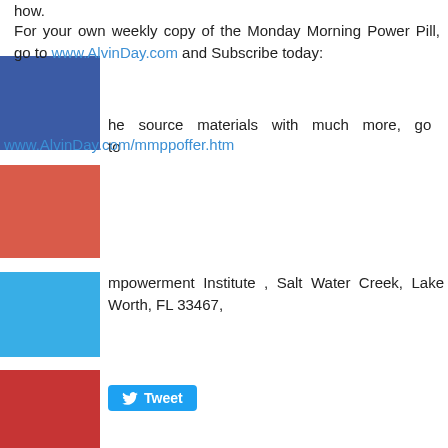how.
For your own weekly copy of the Monday Morning Power Pill, go to www.AlvinDay.com and Subscribe today:
the source materials with much more, go to www.AlvinDay.com/mmppoffer.htm
Empowerment Institute , Salt Water Creek, Lake Worth, FL 33467,
Tweet
nents
LEAVE A REPLY.
(required)
Email (not published)